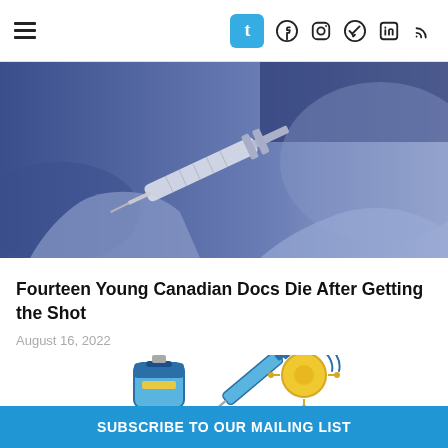Tumblr social media navigation header with hamburger menu and social icons
[Figure (photo): Close-up photo of gloved hands holding a syringe/needle, blue-toned monochromatic image]
Fourteen Young Canadian Docs Die After Getting the Shot
August 16, 2022
[Figure (illustration): Illustrated icons of a vaccine vial, syringe, and coronavirus particle in blue and yellow colors]
SUBSCRIBE TO OUR MAILING LIST